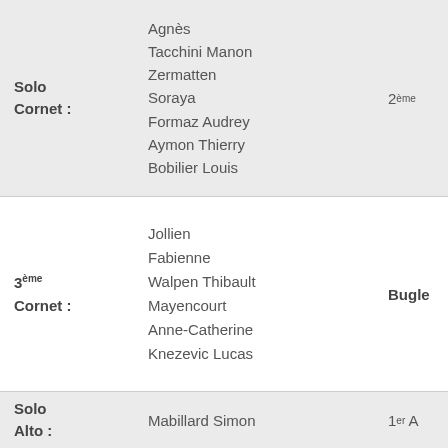| Category | Names | Rank |
| --- | --- | --- |
| Solo Cornet : | Agnès
Tacchini Manon
Zermatten Soraya
Formaz Audrey
Aymon Thierry
Bobilier Louis | 2ème |
| 3ème Cornet : | Jollien Fabienne
Walpen Thibault
Mayencourt Anne-Catherine
Knezevic Lucas | Bugle |
| Solo Alto : | Mabillard Simon | 1er A |